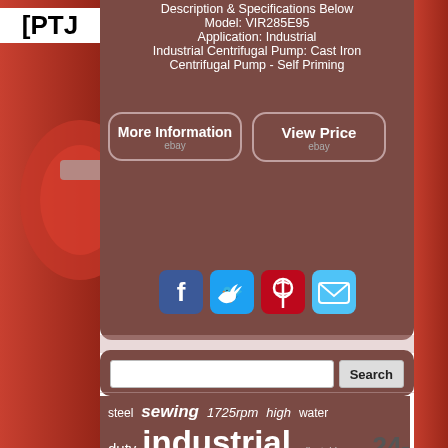[Figure (photo): Red centrifugal pump photo on left and right side strips]
PTJ
Description & Specifications Below
Model: VIR285E95
Application: Industrial
Industrial Centrifugal Pump: Cast Iron Centrifugal Pump - Self Priming
More Information
ebay
View Price
ebay
[Figure (infographic): Social share icons: Facebook, Twitter, Pinterest, Email]
Search
steel  sewing  1725rpm  high  water
duty  industrial  adjustable  24-